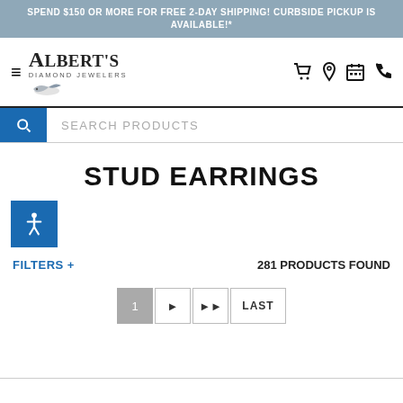SPEND $150 OR MORE FOR FREE 2-DAY SHIPPING! CURBSIDE PICKUP IS AVAILABLE!*
[Figure (logo): Albert's Diamond Jewelers logo with bird illustration and hamburger menu icon]
SEARCH PRODUCTS
STUD EARRINGS
FILTERS +
281 PRODUCTS FOUND
1 ► ►► LAST